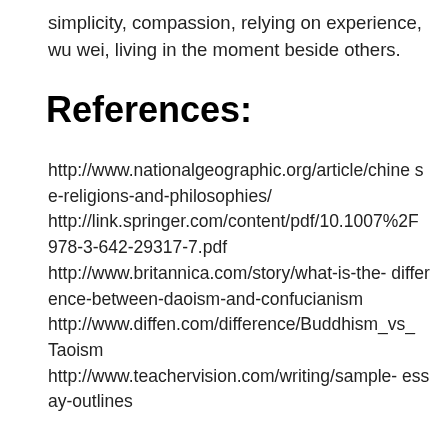simplicity, compassion, relying on experience, wu wei, living in the moment beside others.
References:
http://www.nationalgeographic.org/article/chinese-religions-and-philosophies/
http://link.springer.com/content/pdf/10.1007%2F978-3-642-29317-7.pdf
http://www.britannica.com/story/what-is-the-difference-between-daoism-and-confucianism
http://www.diffen.com/difference/Buddhism_vs_Taoism
http://www.teachervision.com/writing/sample-essay-outlines